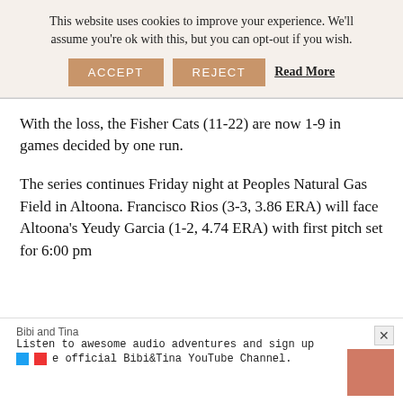This website uses cookies to improve your experience. We'll assume you're ok with this, but you can opt-out if you wish.
ACCEPT   REJECT   Read More
With the loss, the Fisher Cats (11-22) are now 1-9 in games decided by one run.
The series continues Friday night at Peoples Natural Gas Field in Altoona. Francisco Rios (3-3, 3.86 ERA) will face Altoona's Yeudy Garcia (1-2, 4.74 ERA) with first pitch set for 6:00 pm
Bibi and Tina
Listen to awesome audio adventures and sign up
e official Bibi&Tina YouTube Channel.